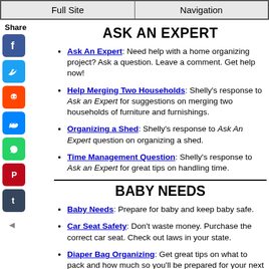Full Site | Navigation
ASK AN EXPERT
Ask An Expert: Need help with a home organizing project? Ask a question. Leave a comment. Get help now!
Help Merging Two Households: Shelly's response to Ask an Expert for suggestions on merging two households of furniture and furnishings.
Organizing a Shed: Shelly's response to Ask An Expert question on organizing a shed.
Time Management Question: Shelly's response to Ask an Expert for great tips on handling time.
BABY NEEDS
Baby Needs: Prepare for baby and keep baby safe.
Car Seat Safety: Don't waste money. Purchase the correct car seat. Check out laws in your state.
Diaper Bag Organizing: Get great tips on what to pack and how much so you'll be prepared for your next outing with baby!
Infant Safety: Keep baby safe. Learn to prevent accidents,